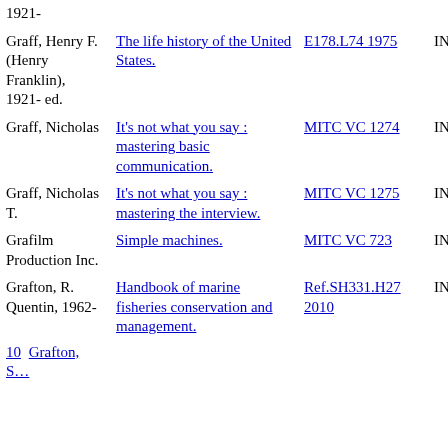| Author | Title | Call Number | Status |
| --- | --- | --- | --- |
| 1921- |  |  |  |
| Graff, Henry F. (Henry Franklin), 1921- ed. | The life history of the United States. | E178.L74 1975 | IN |
| Graff, Nicholas | It's not what you say : mastering basic communication. | MITC VC 1274 | IN |
| Graff, Nicholas T. | It's not what you say : mastering the interview. | MITC VC 1275 | IN |
| Grafilm Production Inc. | Simple machines. | MITC VC 723 | IN |
| Grafton, R. Quentin, 1962- | Handbook of marine fisheries conservation and management. | Ref.SH331.H27 2010 | IN |
| 10  Grafton, S... |  |  |  |